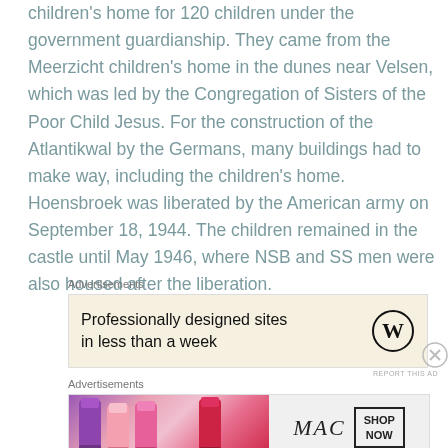children's home for 120 children under the government guardianship. They came from the Meerzicht children's home in the dunes near Velsen, which was led by the Congregation of Sisters of the Poor Child Jesus. For the construction of the Atlantikwal by the Germans, many buildings had to make way, including the children's home. Hoensbroek was liberated by the American army on September 18, 1944. The children remained in the castle until May 1946, where NSB and SS men were also housed after the liberation.
[Figure (other): Advertisement banner: WordPress ad with text 'Professionally designed sites in less than a week' and WordPress logo on beige background]
[Figure (other): Advertisement banner: MAC cosmetics ad showing lipsticks on left, MAC italic logo in center, and SHOP NOW box on right]